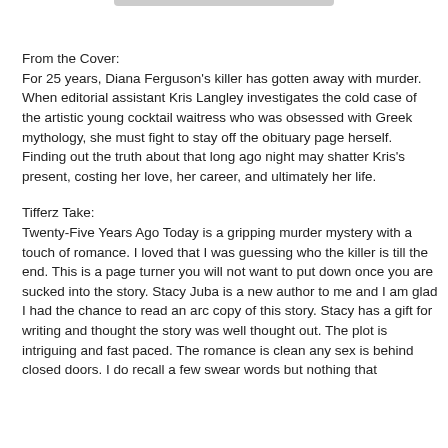From the Cover:
For 25 years, Diana Ferguson's killer has gotten away with murder. When editorial assistant Kris Langley investigates the cold case of the artistic young cocktail waitress who was obsessed with Greek mythology, she must fight to stay off the obituary page herself. Finding out the truth about that long ago night may shatter Kris's present, costing her love, her career, and ultimately her life.
Tifferz Take:
Twenty-Five Years Ago Today is a gripping murder mystery with a touch of romance. I loved that I was guessing who the killer is till the end. This is a page turner you will not want to put down once you are sucked into the story. Stacy Juba is a new author to me and I am glad I had the chance to read an arc copy of this story. Stacy has a gift for writing and thought the story was well thought out. The plot is intriguing and fast paced. The romance is clean any sex is behind closed doors. I do recall a few swear words but nothing that